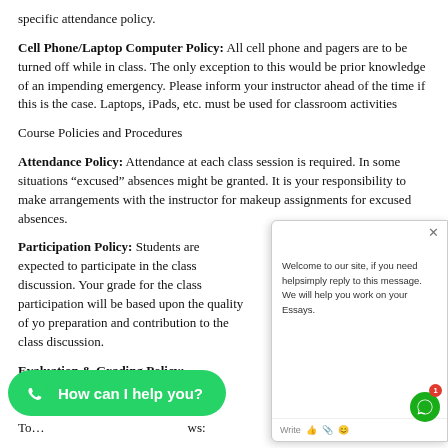specific attendance policy.
Cell Phone/Laptop Computer Policy: All cell phone and pagers are to be turned off while in class. The only exception to this would be prior knowledge of an impending emergency. Please inform your instructor ahead of the time if this is the case. Laptops, iPads, etc. must be used for classroom activities
Course Policies and Procedures
Attendance Policy: Attendance at each class session is required. In some situations “excused” absences might be granted. It is your responsibility to make arrangements with the instructor for makeup assignments for excused absences.
Participation Policy: Students are expected to participate in the class discussion. Your grade for the class participation will be based upon the quality of yo… preparation and contribution to the class discussion.
Evaluation & Grading Policy:
Evaluation:
To… ws:
Weekly Case Study and Questions 300 points